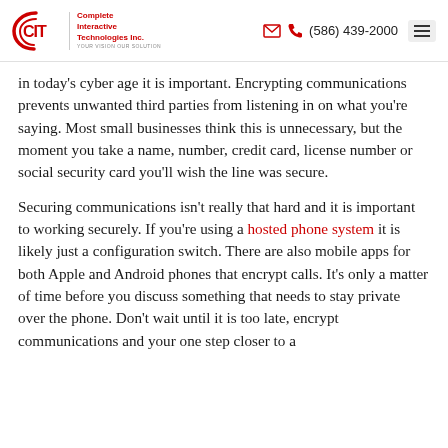Complete Interactive Technologies Inc. | (586) 439-2000
in today's cyber age it is important. Encrypting communications prevents unwanted third parties from listening in on what you're saying. Most small businesses think this is unnecessary, but the moment you take a name, number, credit card, license number or social security card you'll wish the line was secure.
Securing communications isn't really that hard and it is important to working securely. If you're using a hosted phone system it is likely just a configuration switch. There are also mobile apps for both Apple and Android phones that encrypt calls. It's only a matter of time before you discuss something that needs to stay private over the phone. Don't wait until it is too late, encrypt communications and your one step closer to a